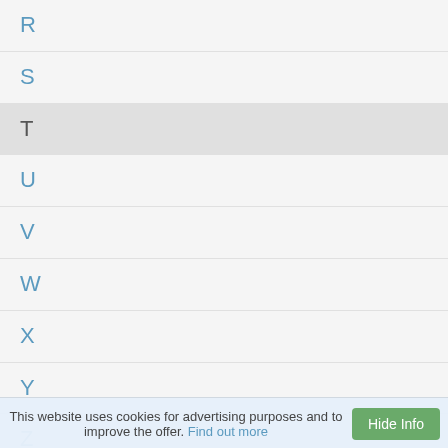R
S
T
U
V
W
X
Y
Z
This website uses cookies for advertising purposes and to improve the offer. Find out more